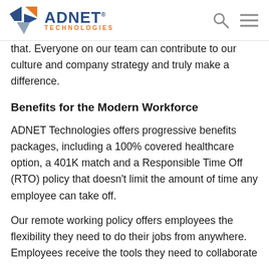ADNET TECHNOLOGIES
that. Everyone on our team can contribute to our culture and company strategy and truly make a difference.
Benefits for the Modern Workforce
ADNET Technologies offers progressive benefits packages, including a 100% covered healthcare option, a 401K match and a Responsible Time Off (RTO) policy that doesn't limit the amount of time any employee can take off.
Our remote working policy offers employees the flexibility they need to do their jobs from anywhere. Employees receive the tools they need to collaborate